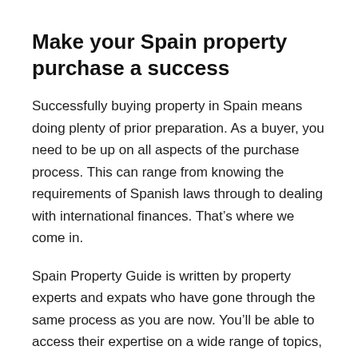Make your Spain property purchase a success
Successfully buying property in Spain means doing plenty of prior preparation. As a buyer, you need to be up on all aspects of the purchase process. This can range from knowing the requirements of Spanish laws through to dealing with international finances. That’s where we come in.
Spain Property Guide is written by property experts and expats who have gone through the same process as you are now. You’ll be able to access their expertise on a wide range of topics, all gathered in one place.
Topics include: